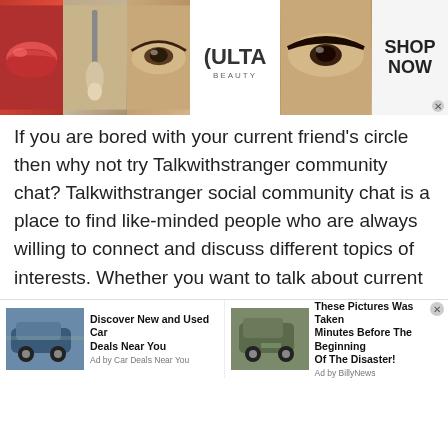[Figure (photo): Banner advertisement for Ulta Beauty showing makeup images (lips, brush, eye), Ulta Beauty logo, smoky eye photo, and SHOP NOW button]
If you are bored with your current friend's circle then why not try Talkwithstranger community chat? Talkwithstranger social community chat is a place to find like-minded people who are always willing to connect and discuss different topics of interests. Whether you want to talk about current affairs, share your marriage secret or recent movies, people from different countries are ready to listen to you. If you think people will make fun of you then nothing is like that. Talkwithstranger strict chat rules make
[Figure (photo): Bottom advertisement bar with two ads: 'Discover New and Used Car Deals Near You' by Car Deals Near You, and 'These Pictures Was Taken Minutes Before The Beginning Of The Disaster!' by BillyNews]